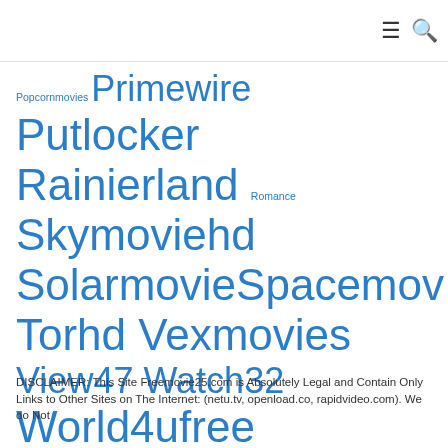≡ 🔍
Popcornmovies Primewire Putlocker Rainierland Romance Skymoviehd Solarmovie Spacemov Torhd Vexmovies View47 Watch32 World4ufree Xmovies8 Yesmovies YIFY YIFY movies YTS YTS movies
DISCLAIMER: This Site Freemovie25.com is Absolutely Legal and Contain Only Links to Other Sites on The Internet: (netu.tv, openload.co, rapidvideo.com). We do Not